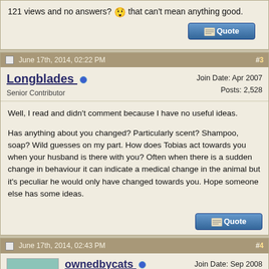121 views and no answers? 😲 that can't mean anything good.
June 17th, 2014, 02:22 PM   #3
Longblades
Senior Contributor
Join Date: Apr 2007
Posts: 2,528
Well, I read and didn't comment because I have no useful ideas.

Has anything about you changed? Particularly scent? Shampoo, soap? Wild guesses on my part. How does Tobias act towards you when your husband is there with you? Often when there is a sudden change in behaviour it can indicate a medical change in the animal but it's peculiar he would only have changed towards you. Hope someone else has some ideas.
June 17th, 2014, 02:43 PM   #4
ownedbycats
Senior Member
Join Date: Sep 2008
Location: Ontario
Posts: 854
It may not be the harness that set him off. You say he was in a window sill when he attacked you? And he's not neutered? There is a problem sometimes with cats called "redirected